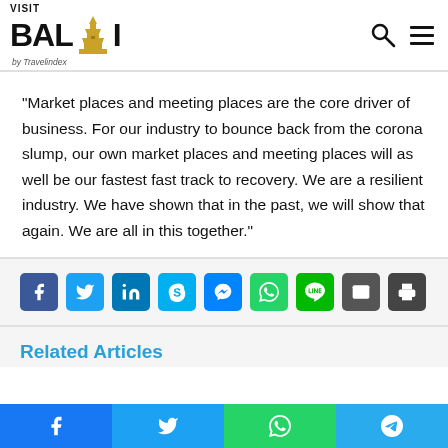[Figure (logo): Visit Bali by Travelindex logo with golden temple icon]
“Market places and meeting places are the core driver of business. For our industry to bounce back from the corona slump, our own market places and meeting places will as well be our fastest fast track to recovery. We are a resilient industry. We have shown that in the past, we will show that again. We are all in this together.”
[Figure (infographic): Social share buttons: Facebook, Twitter, LinkedIn, Skype, Messenger, WhatsApp, LINE, Email, Print]
Related Articles
[Figure (infographic): Bottom social share bar: Facebook, Twitter, WhatsApp, Telegram]